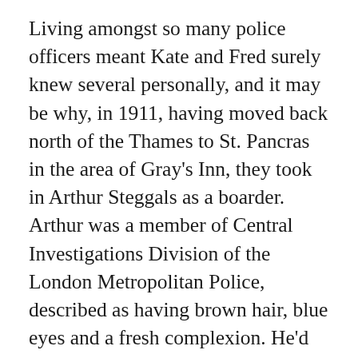Living amongst so many police officers meant Kate and Fred surely knew several personally, and it may be why, in 1911, having moved back north of the Thames to St. Pancras in the area of Gray's Inn, they took in Arthur Steggals as a boarder. Arthur was a member of Central Investigations Division of the London Metropolitan Police, described as having brown hair, blue eyes and a fresh complexion. He'd joined the force in 1900, and had progressed through the ranks, becoming a detective with some experience, and a sergeant. Searches of newspapers and police court